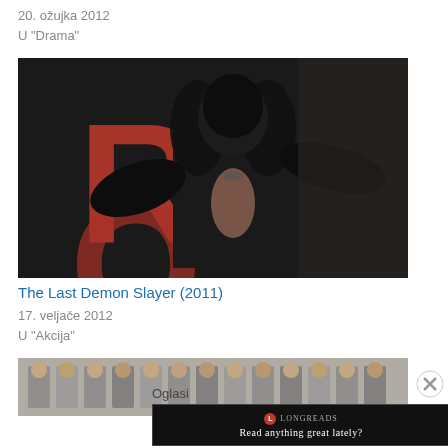20. ožujka 2012
U "Drama"
[Figure (photo): Movie still showing a person in a large black feathered/fur costume with a red stylized letter R in the background]
The Last Demon Slayer (2011)
17. veljače 2012
U "Akcija"
[Figure (photo): Group of men in suits standing together]
Oglasi
[Figure (other): Longreads advertisement: Read anything great lately?]